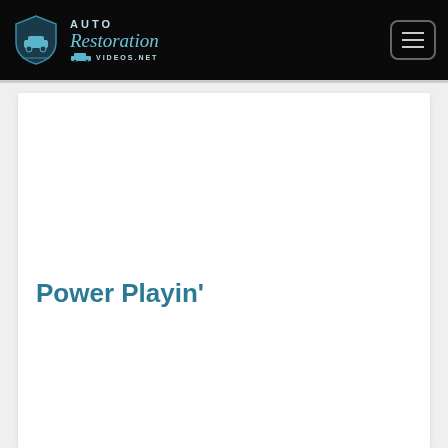Auto Restoration Videos.net
Power Playin’